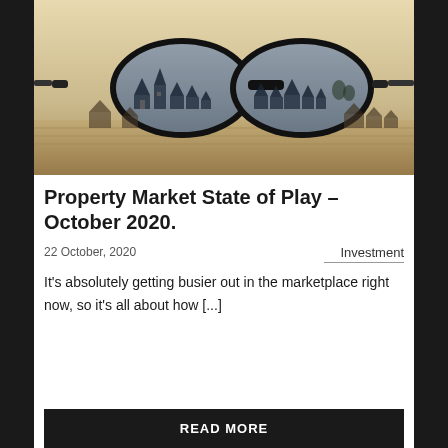[Figure (photo): A pair of black-rimmed glasses lying on a surface with miniature model houses visible inside and around the lenses, shot in a sepia/monochrome tone with shallow depth of field.]
Property Market State of Play – October 2020.
22 October, 2020
Investment
It's absolutely getting busier out in the marketplace right now, so it's all about how [...]
READ MORE